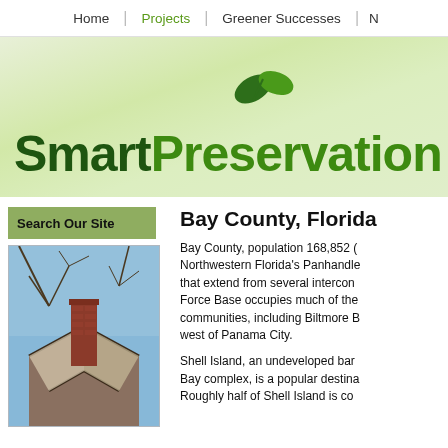Home | Projects | Greener Successes | N
[Figure (logo): SmartPreservation logo with green leaf icon and gradient green banner background]
Search Our Site
[Figure (photo): Photo of a historic brick chimney and Tudor-style roofline against a blue winter sky with bare tree branches]
Bay County, Florida
Bay County, population 168,852 (Northwestern Florida's Panhandle) that extend from several intercon Force Base occupies much of the communities, including Biltmore B west of Panama City.
Shell Island, an undeveloped bar Bay complex, is a popular destina Roughly half of Shell Island is co